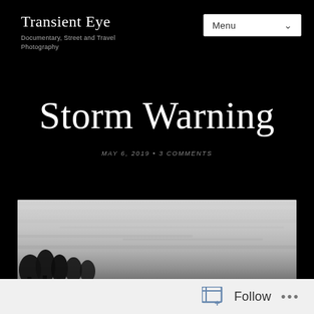Transient Eye
Documentary, Street and Travel Photography
Storm Warning
MAY 6, 2019 • 3 COMMENTS
[Figure (photo): Black and white photograph of a stormy sky with dark clouds, palm tree silhouettes in the lower left, and a cityscape faintly visible on the horizon.]
Follow ...